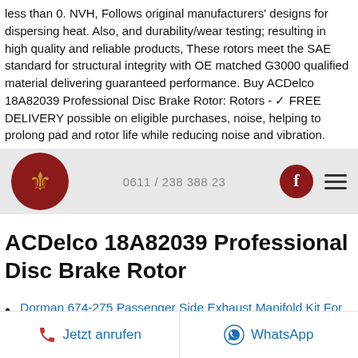less than 0. NVH, Follows original manufacturers' designs for dispersing heat. Also, and durability/wear testing; resulting in high quality and reliable products, These rotors meet the SAE standard for structural integrity with OE matched G3000 qualified material delivering guaranteed performance. Buy ACDelco 18A82039 Professional Disc Brake Rotor: Rotors - ✓ FREE DELIVERY possible on eligible purchases, noise, helping to prolong pad and rotor life while reducing noise and vibration.
[Figure (screenshot): Navigation bar with fleur-de-lis logo, phone number 0611 / 238 388 23, Facebook button, and hamburger menu]
ACDelco 18A82039 Professional Disc Brake Rotor
Dorman 674-275 Passenger Side Exhaust Manifold Kit For Select Dodge Plymouth Models
Jetzt anrufen   WhatsApp